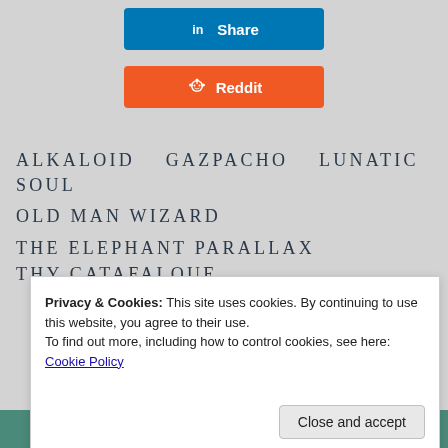[Figure (screenshot): LinkedIn Share button (blue background, white text with 'in' logo)]
[Figure (screenshot): Reddit Share button (orange background, white Snoo logo and 'Reddit' text)]
ALKALOID   GAZPACHO   LUNATIC SOUL
OLD MAN WIZARD
THE ELEPHANT PARALLAX
THY CATAFALQUE
Privacy & Cookies: This site uses cookies. By continuing to use this website, you agree to their use.
To find out more, including how to control cookies, see here: Cookie Policy
Close and accept